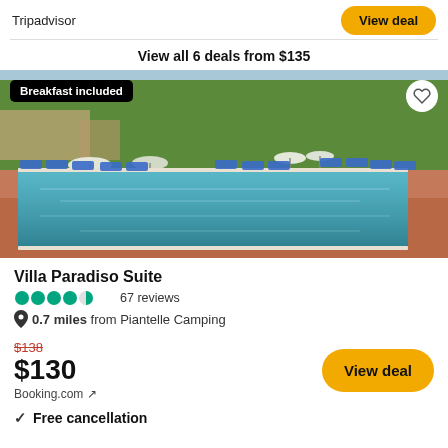Tripadvisor
View all 6 deals from $135
[Figure (photo): Outdoor swimming pool with blue water, lounge chairs, umbrellas, and trees in background. Badge reads 'Breakfast included'.]
Villa Paradiso Suite
67 reviews
0.7 miles from Piantelle Camping
$138 $130 Booking.com
Free cancellation